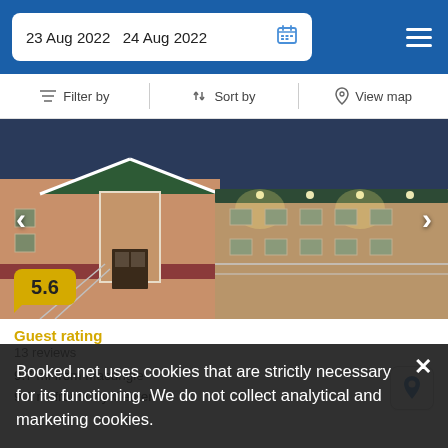23 Aug 2022  24 Aug 2022
Filter by  |  Sort by  |  View map
[Figure (photo): Exterior photo of a motel/hotel building at night, showing warm-lit entrance with green roof gable, metal railings, and a long exterior corridor. Mountains visible in background.]
5.6
Guest rating
13 reviews
9.7 mi from Macungie
9.7 mi from City Center
Booked.net uses cookies that are strictly necessary for its functioning. We do not collect analytical and marketing cookies.